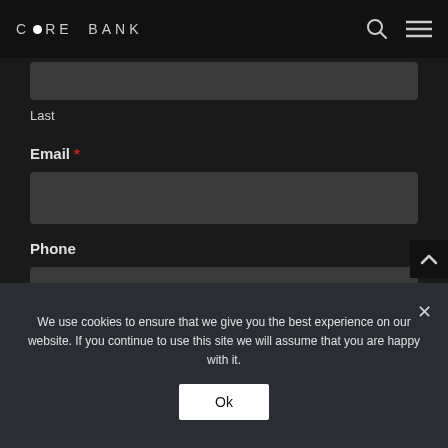CORE BANK
Last
Email *
Phone
We use cookies to ensure that we give you the best experience on our website. If you continue to use this site we will assume that you are happy with it.
Ok